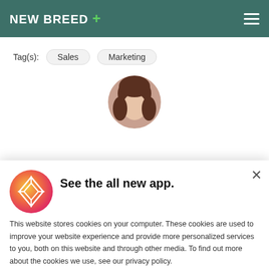NEW BREED +
Tag(s):  Sales  Marketing
[Figure (illustration): Circular avatar showing a woman with brown hair, partially visible at top of page]
Distribut... ...th automated lead routing.
[Figure (logo): App icon with gradient background and diamond/arrow shapes in white]
See the all new app.
This website stores cookies on your computer. These cookies are used to improve your website experience and provide more personalized services to you, both on this website and through other media. To find out more about the cookies we use, see our privacy policy.
ACCEPT